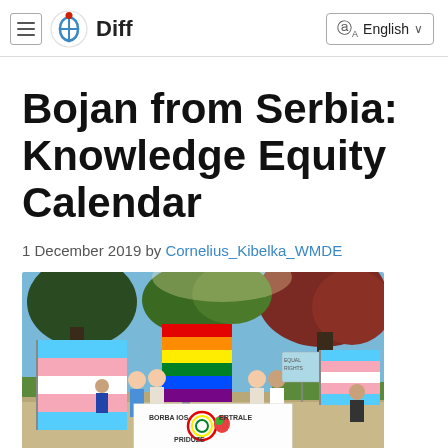Diff | English
Bojan from Serbia: Knowledge Equity Calendar
1 December 2019 by Cornelius_Kibelka_WMDE
[Figure (photo): Outdoor pride parade scene with people carrying rainbow flags, transgender flags, and banners including one reading 'BORBA IOS... QUEERTRALE PRIDUZE'. Trees and blue sky in background.]